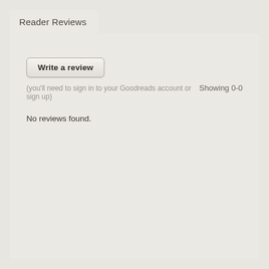Reader Reviews
Write a review
(you'll need to sign in to your Goodreads account or sign up)
Showing 0-0
No reviews found.